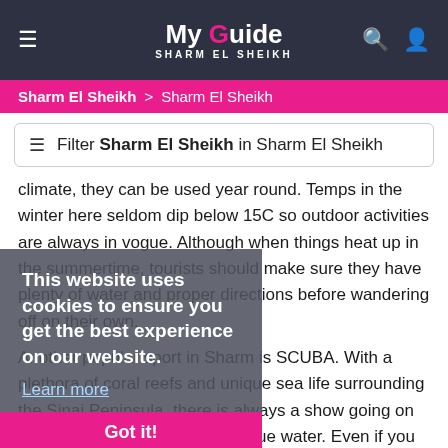My Guide Sharm El Sheikh
Sharm El Sheikh > Sharm El Sheikh
Filter Sharm El Sheikh in Sharm El Sheikh
climate, they can be used year round. Temps in the winter here seldom dip below 15C so outdoor activities are always in vogue. Although when things heat up in the summertime, tourists should make sure they have plenty of water and proper directions before wandering off on their own.
This website uses cookies to ensure you get the best experience on our website. Learn more Got it!
Another popular sport in Sharm is SCUBA. With a plethora of coral reefs and unique sea life surrounding the Sinai Peninsula, there is always a show going on under the surface of the clear blue water. Even if you have never donned the traditional SCUBA gear or even a snorkel, most hotels here offer lessons on how to enjoy this magnificent sport.
So, what are you waiting for? Grab your passport and a few extra